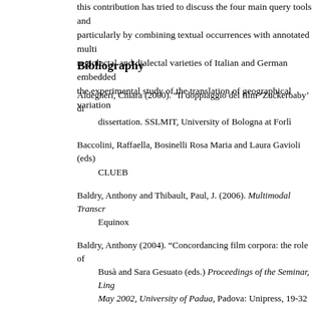this contribution has tried to discuss the four main query tools and particularly by combining textual occurrences with annotated multi regiolectal and dialectal varieties of Italian and German embedded the experimental study of the translation of geographical variation
Bibliography
Aldegheri, Chiara (2000). “Il doppiaggio del film ‘Zuckerbaby’ di dissertation. SSLMIT, University of Bologna at Forlì
Baccolini, Raffaella, Bosinelli Rosa Maria and Laura Gavioli (eds) CLUEB
Baldry, Anthony and Thibault, Paul, J. (2006). Multimodal Transcr Equinox
Baldry, Anthony (2004). “Concordancing film corpora: the role of Busà and Sara Gesuato (eds.) Proceedings of the Seminar, Ling May 2002, University of Padua, Padova: Unipress, 19-32
Baldry, Anthony and Beltrami Michele (2004). “Report: The MCA DIDACTAS: Didattica dell’analisi testuale, dei corpora, della t [url=http://www.univ.trieste.it/~didactas/pagine/relazione.php? id=20041009084724]http://www.univ.trieste.it/~didactas/pagine/
Baldry, Anthony and Paul J. Thibault (2001). “Towards Multimoda description and teaching of English. Papers from the 5th ESSE